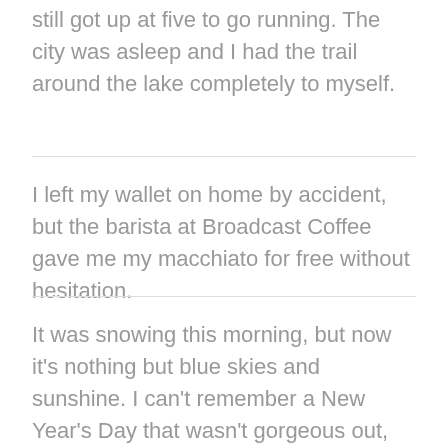still got up at five to go running. The city was asleep and I had the trail around the lake completely to myself.
I left my wallet on home by accident, but the barista at Broadcast Coffee gave me my macchiato for free without hesitation.
It was snowing this morning, but now it's nothing but blue skies and sunshine. I can't remember a New Year's Day that wasn't gorgeous out, but this one feels like an especially good sign.